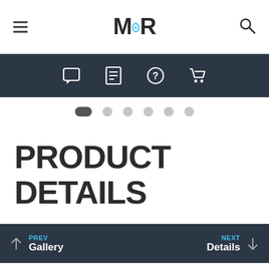MR logo with hamburger menu and search icon
[Figure (screenshot): Dark navigation bar with four icons: chat bubble, list/document, help circle, shopping cart]
[Figure (other): Carousel dot indicators: 6 dots, first one active (elongated dark pill), rest light grey circles]
PRODUCT DETAILS
PREV Gallery | NEXT Details